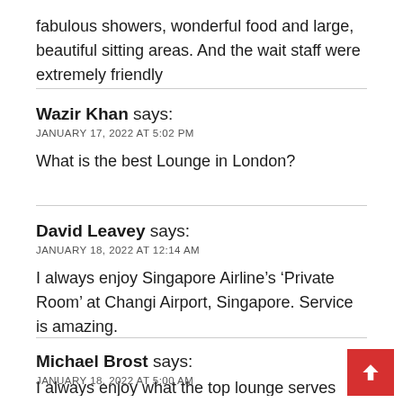fabulous showers, wonderful food and large, beautiful sitting areas. And the wait staff were extremely friendly
Wazir Khan says:
JANUARY 17, 2022 AT 5:02 PM
What is the best Lounge in London?
David Leavey says:
JANUARY 18, 2022 AT 12:14 AM
I always enjoy Singapore Airline’s ‘Private Room’ at Changi Airport, Singapore. Service is amazing.
Michael Brost says:
JANUARY 18, 2022 AT 5:00 AM
I always enjoy what the top lounge serves for lunch...